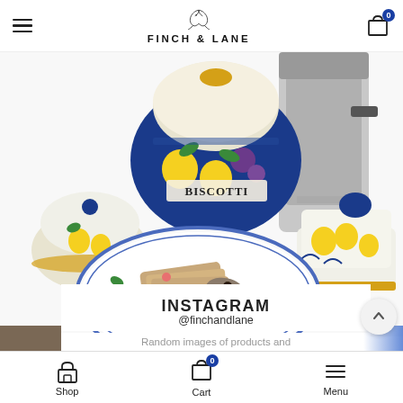FINCH & LANE
[Figure (photo): Italian ceramic kitchenware: a large blue and white biscotti jar with fruit motif, a small sugar bowl with lid, a butter dish with lemon design, an oval plate with bread and cookies, and a stainless steel moka pot in the background.]
INSTAGRAM
@finchandlane
Random images of products and
Shop  Cart  Menu